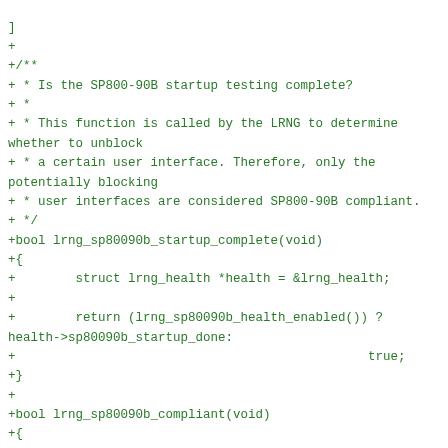]
+
+/**
+ * Is the SP800-90B startup testing complete?
+ *
+ * This function is called by the LRNG to determine whether to unblock
+ * a certain user interface. Therefore, only the potentially blocking
+ * user interfaces are considered SP800-90B compliant.
+ */
+bool lrng_sp80090b_startup_complete(void)
+{
+        struct lrng_health *health = &lrng_health;
+
+        return (lrng_sp80090b_health_enabled()) ?
                health->sp80090b_startup_done:
+                                               true;
+}
+
+bool lrng_sp80090b_compliant(void)
+{
+        struct lrng_health *health = &lrng_health;
+
+        return lrng_sp80090b_health_enabled() &&
               health->sp80090b_startup_done;
+}
+
+/************************************************************
+ * Adaptive Proportion Test
+ *